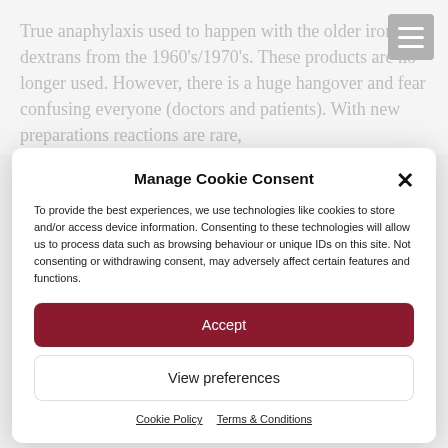True anaphylaxis used to happen with the older iron dextrans from the 1960's/1970's. These products are no longer used. However, there is a huge hangover and fear confusing everyone (doctors and patients). With new preparations reactions are rare,
Manage Cookie Consent
To provide the best experiences, we use technologies like cookies to store and/or access device information. Consenting to these technologies will allow us to process data such as browsing behaviour or unique IDs on this site. Not consenting or withdrawing consent, may adversely affect certain features and functions.
Accept
View preferences
Cookie Policy  Terms & Conditions